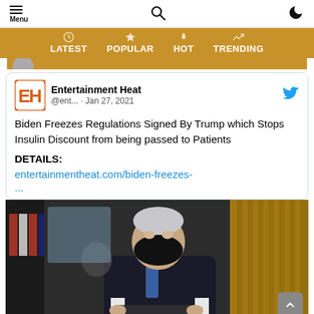Menu | Search | Dark mode toggle
LATEST | POPULAR | HOT | TRENDING
Entertainment Heat @ent... · Jan 27, 2021
Biden Freezes Regulations Signed By Trump which Stops Insulin Discount from being passed to Patients

DETAILS:
entertainmentheat.com/biden-freezes-
...
[Figure (photo): Photo of President Biden wearing a black mask, seated at a desk with American flags visible in the background, holding papers]